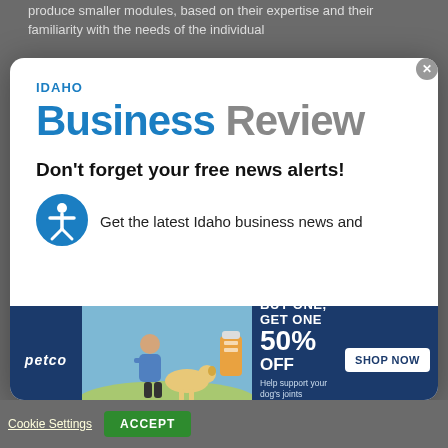produce smaller modules, based on their expertise and their familiarity with the needs of the individual
[Figure (logo): Idaho Business Review logo with blue IDAHO text, blue BUSINESS and gray REVIEW in large bold font]
Don't forget your free news alerts!
Get the latest Idaho business news and
[Figure (infographic): Petco advertisement banner: BUY ONE, GET ONE 50% OFF - Help support your dog's joints with a premium supplement. SHOP NOW button. Shows person with dog and supplement product.]
SIGN UP FOR FREE
Cookie Settings
ACCEPT